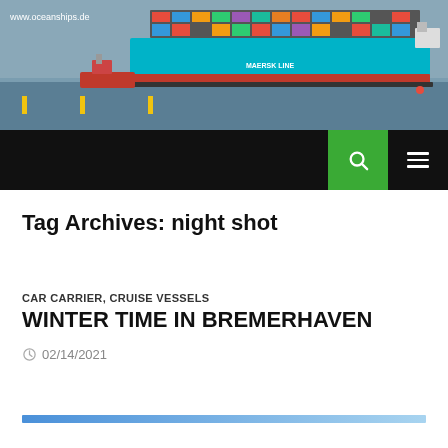[Figure (photo): Maersk Line large container ship at sea with a red tugboat alongside, overcast sky, waterline visible. Website URL 'www.oceanships.de' shown in top-left corner.]
www.oceanships.de
Tag Archives: night shot
CAR CARRIER, CRUISE VESSELS
WINTER TIME IN BREMERHAVEN
02/14/2021